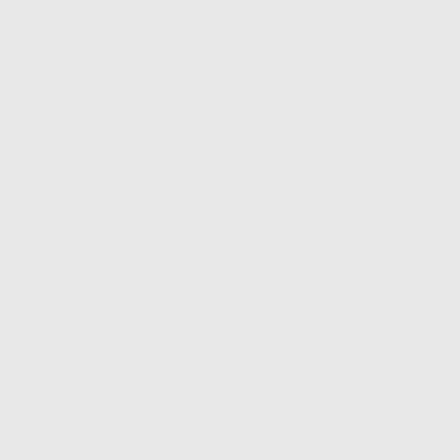=Block of Plumbum (Lead)|image=Block_of_plumbum_lead.png|link=Block of Plumbum (Lead)}}{{Inventory/Slot|index=9|title=Block of Antimony-Lead|image=Block_of_antimony_lead.png|link=Block of Antimony-Lead}}|typ